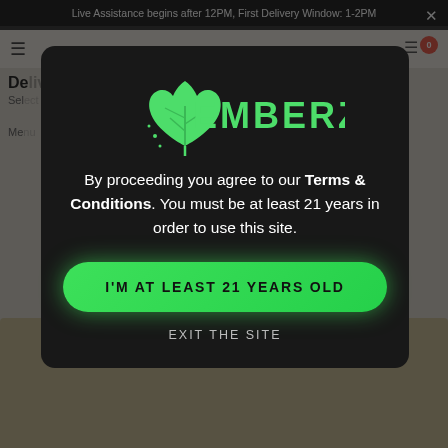Live Assistance begins after 12PM, First Delivery Window: 1-2PM
[Figure (screenshot): Emberz cannabis delivery website background page showing navigation bar, page title starting with 'De', product listing text, and product image]
EMBERZ
By proceeding you agree to our Terms & Conditions. You must be at least 21 years in order to use this site.
I'M AT LEAST 21 YEARS OLD
EXIT THE SITE